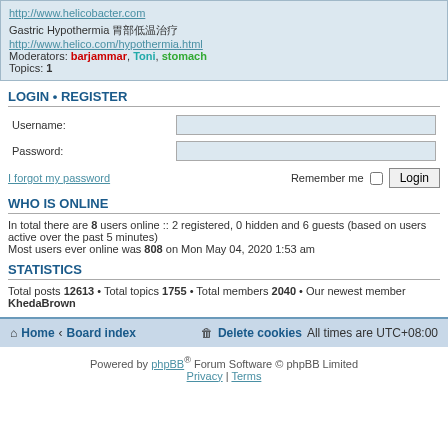http://www.helicobacter.com
Gastric Hypothermia 胃部低温治疗
http://www.helico.com/hypothermia.html
Moderators: barjammar, Toni, stomach
Topics: 1
LOGIN • REGISTER
Username:
Password:
I forgot my password | Remember me [ ] Login
WHO IS ONLINE
In total there are 8 users online :: 2 registered, 0 hidden and 6 guests (based on users active over the past 5 minutes)
Most users ever online was 808 on Mon May 04, 2020 1:53 am
STATISTICS
Total posts 12613 • Total topics 1755 • Total members 2040 • Our newest member KhedaBrown
Home · Board index | Delete cookies  All times are UTC+08:00
Powered by phpBB® Forum Software © phpBB Limited
Privacy | Terms